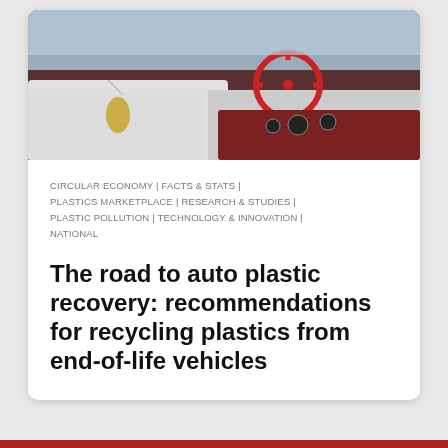[Figure (photo): Photograph of a classic car interior and exterior — red steering wheel, dashboard, white hood visible, taken from above/side angle.]
CIRCULAR ECONOMY | FACTS & STATS | PLASTICS MARKETPLACE | RESEARCH & STUDIES | PLASTIC POLLUTION | TECHNOLOGY & INNOVATION | NATIONAL
The road to auto plastic recovery: recommendations for recycling plastics from end-of-life vehicles